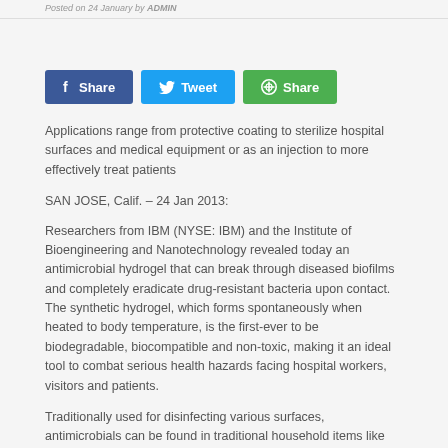Posted on 24 January by ADMIN
[Figure (other): Social sharing buttons: Facebook Share, Twitter Tweet, Google+ Share]
Applications range from protective coating to sterilize hospital surfaces and medical equipment or as an injection to more effectively treat patients
SAN JOSE, Calif. – 24 Jan 2013:
Researchers from IBM (NYSE: IBM) and the Institute of Bioengineering and Nanotechnology revealed today an antimicrobial hydrogel that can break through diseased biofilms and completely eradicate drug-resistant bacteria upon contact. The synthetic hydrogel, which forms spontaneously when heated to body temperature, is the first-ever to be biodegradable, biocompatible and non-toxic, making it an ideal tool to combat serious health hazards facing hospital workers, visitors and patients.
Traditionally used for disinfecting various surfaces, antimicrobials can be found in traditional household items like